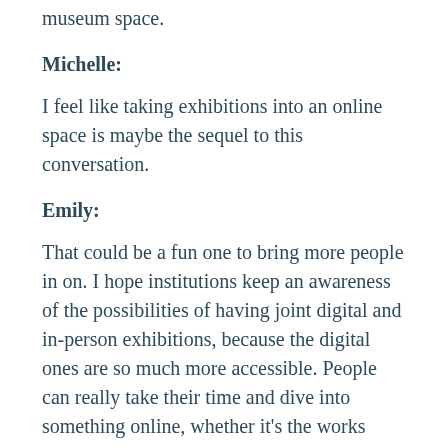museum space.
Michelle:
I feel like taking exhibitions into an online space is maybe the sequel to this conversation.
Emily:
That could be a fun one to bring more people in on. I hope institutions keep an awareness of the possibilities of having joint digital and in-person exhibitions, because the digital ones are so much more accessible. People can really take their time and dive into something online, whether it's the works themselves or related ephemera or a mash-up of material. And it